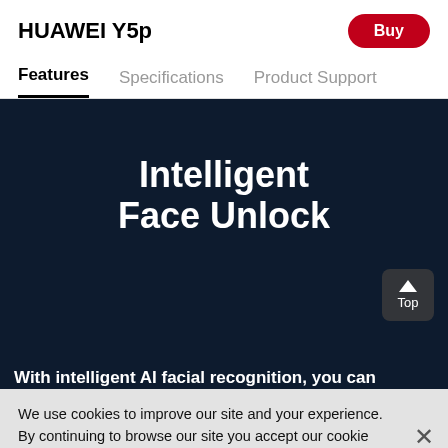HUAWEI Y5p
Buy
Features
Specifications
Product Support
Intelligent Face Unlock
With intelligent AI facial recognition, you can
We use cookies to improve our site and your experience. By continuing to browse our site you accept our cookie policy. Find out more